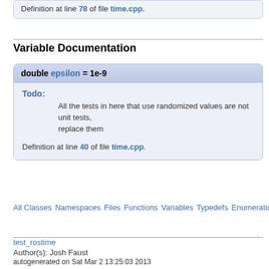Definition at line 78 of file time.cpp.
Variable Documentation
double epsilon = 1e-9
Todo: All the tests in here that use randomized values are not unit tests, replace them
Definition at line 40 of file time.cpp.
All Classes Namespaces Files Functions Variables Typedefs Enumerations Frie...
test_rostime
Author(s): Josh Faust
autogenerated on Sat Mar 2 13:25:03 2013